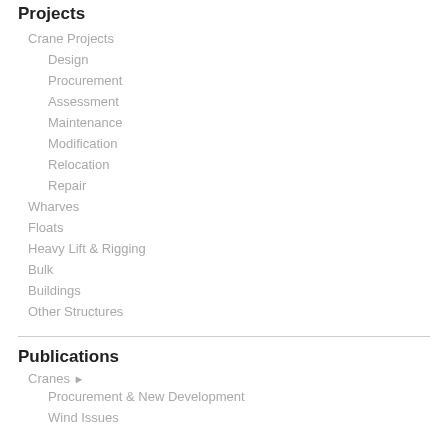Projects
Crane Projects
Design
Procurement
Assessment
Maintenance
Modification
Relocation
Repair
Wharves
Floats
Heavy Lift & Rigging
Bulk
Buildings
Other Structures
Publications
Cranes ▶
Procurement & New Development
Wind Issues